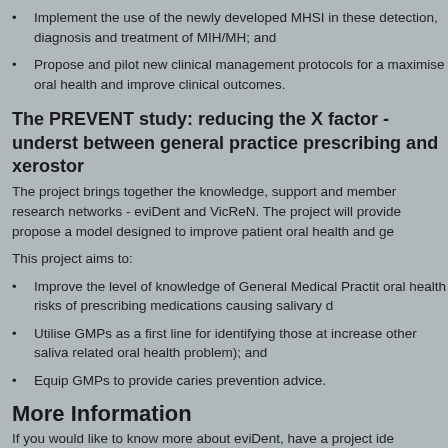Implement the use of the newly developed MHSI in these detection, diagnosis and treatment of MIH/MH; and
Propose and pilot new clinical management protocols for a maximise oral health and improve clinical outcomes.
The PREVENT study: reducing the X factor - underst between general practice prescribing and xerostor
The project brings together the knowledge, support and member research networks - eviDent and VicReN. The project will provide propose a model designed to improve patient oral health and ge
This project aims to:
Improve the level of knowledge of General Medical Practit oral health risks of prescribing medications causing salivary d
Utilise GMPs as a first line for identifying those at increase other saliva related oral health problem); and
Equip GMPs to provide caries prevention advice.
More Information
If you would like to know more about eviDent, have a project ide